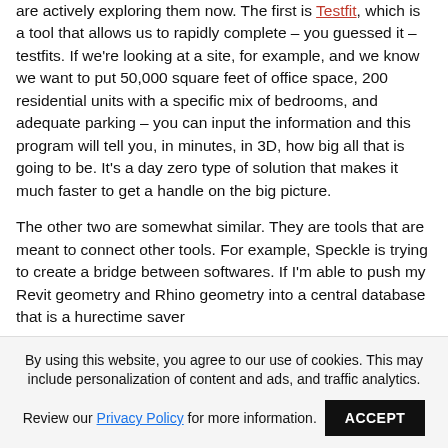are actively exploring them now. The first is Testfit, which is a tool that allows us to rapidly complete – you guessed it – testfits. If we're looking at a site, for example, and we know we want to put 50,000 square feet of office space, 200 residential units with a specific mix of bedrooms, and adequate parking – you can input the information and this program will tell you, in minutes, in 3D, how big all that is going to be. It's a day zero type of solution that makes it much faster to get a handle on the big picture.
The other two are somewhat similar. They are tools that are meant to connect other tools. For example, Speckle is trying to create a bridge between softwares. If I'm able to push my Revit geometry and Rhino geometry into a central database that is a hurectime saver...
By using this website, you agree to our use of cookies. This may include personalization of content and ads, and traffic analytics. Review our Privacy Policy for more information.